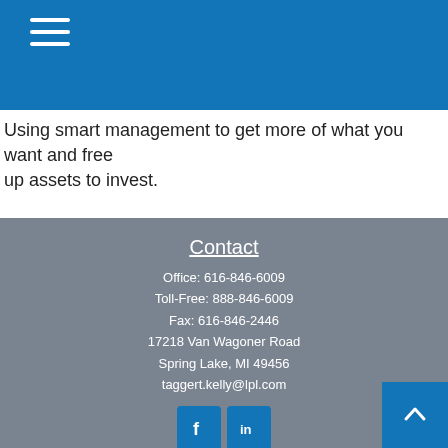[Figure (other): Blue header bar with hamburger menu icon (three horizontal white lines)]
Using smart management to get more of what you want and free up assets to invest.
Contact
Office: 616-846-6009
Toll-Free: 888-846-6009
Fax: 616-846-2446
17218 Van Wagoner Road
Spring Lake, MI 49456
taggert.kelly@lpl.com
[Figure (other): Facebook and LinkedIn social media icons]
Quick Links
Retirement
Investment